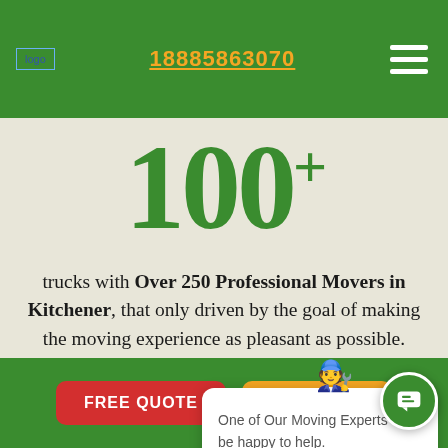logo | 18885863070 | navigation menu
100+
trucks with Over 250 Professional Movers in Kitchener, that only driven by the goal of making the moving experience as pleasant as possible.
[Figure (illustration): Chat widget with moving mascot (cartoon mover character), close button, and text: One of Our Moving Experts will be happy to help.]
One of Our Moving Experts will be happy to help.
FREE QUOTE | CALL NOW | Chat button